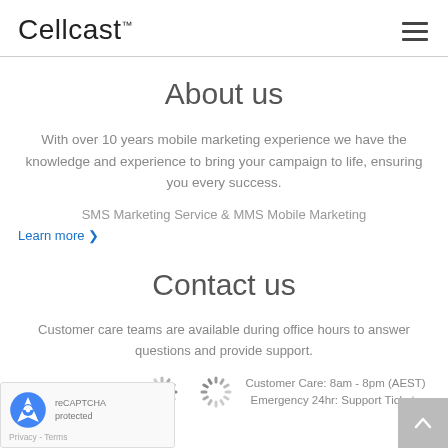Cellcast™
About us
With over 10 years mobile marketing experience we have the knowledge and experience to bring your campaign to life, ensuring you every success.
SMS Marketing Service & MMS Mobile Marketing
Learn more ❯
Contact us
Customer care teams are available during office hours to answer questions and provide support.
& NZ: (03) 8560 7025   Customer Care: 8am - 8pm (AEST) Emergency 24hr: Support Tickets